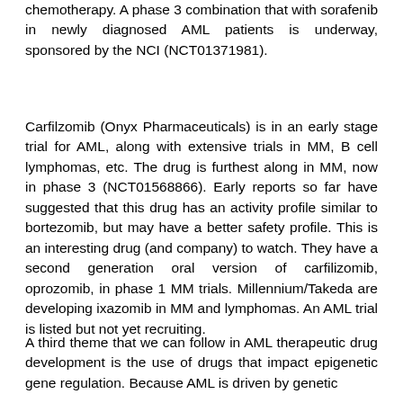chemotherapy. A phase 3 combination that with sorafenib in newly diagnosed AML patients is underway, sponsored by the NCI (NCT01371981).
Carfilzomib (Onyx Pharmaceuticals) is in an early stage trial for AML, along with extensive trials in MM, B cell lymphomas, etc. The drug is furthest along in MM, now in phase 3 (NCT01568866). Early reports so far have suggested that this drug has an activity profile similar to bortezomib, but may have a better safety profile. This is an interesting drug (and company) to watch. They have a second generation oral version of carfilizomib, oprozomib, in phase 1 MM trials. Millennium/Takeda are developing ixazomib in MM and lymphomas. An AML trial is listed but not yet recruiting.
A third theme that we can follow in AML therapeutic drug development is the use of drugs that impact epigenetic gene regulation. Because AML is driven by genetic